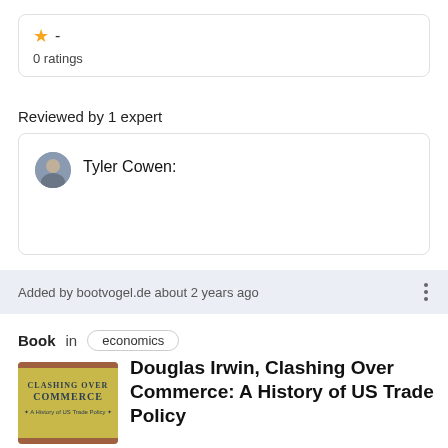★ -
0 ratings
Reviewed by 1 expert
Tyler Cowen:
Added by bootvogel.de about 2 years ago
Book in economics
[Figure (illustration): Book cover of 'Clashing Over Commerce: A History of US Trade Policy' with yellow/gold background and dark text]
Douglas Irwin, Clashing Over Commerce: A History of US Trade Policy